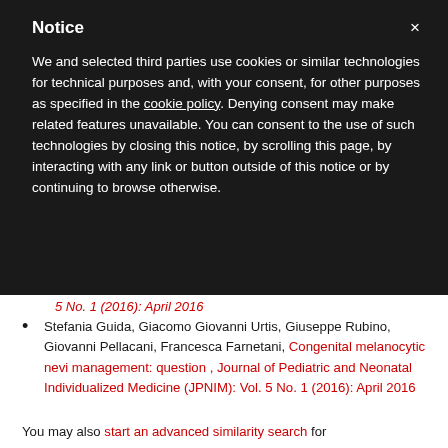Notice
We and selected third parties use cookies or similar technologies for technical purposes and, with your consent, for other purposes as specified in the cookie policy. Denying consent may make related features unavailable. You can consent to the use of such technologies by closing this notice, by scrolling this page, by interacting with any link or button outside of this notice or by continuing to browse otherwise.
Stefania Guida, Giacomo Giovanni Urtis, Giuseppe Rubino, Giovanni Pellacani, Francesca Farnetani, Congenital melanocytic nevi management: question , Journal of Pediatric and Neonatal Individualized Medicine (JPNIM): Vol. 5 No. 1 (2016): April 2016
You may also start an advanced similarity search for